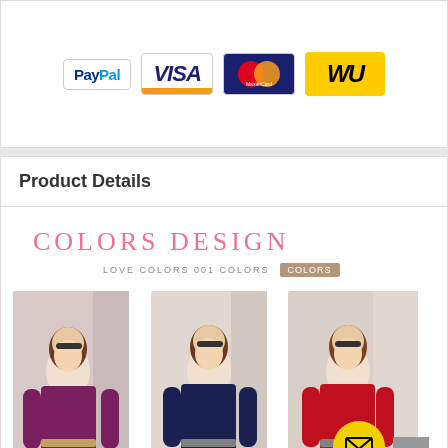[Figure (logo): Payment method logos: PayPal, VISA, MasterCard, Western Union]
Product Details
[Figure (photo): COLORS DESIGN heading with three women wearing long-sleeve dresses in purple, navy blue, and red colors with belts]
LOVE COLORS 001 COLORS